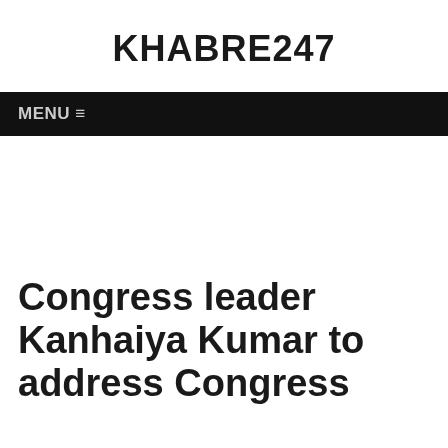KHABRE247
MENU ≡
Congress leader Kanhaiya Kumar to address Congress